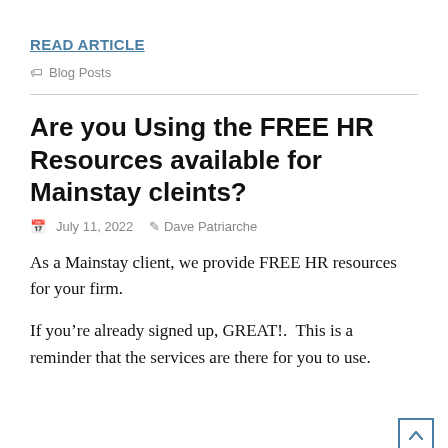READ ARTICLE
Blog Posts
Are you Using the FREE HR Resources available for Mainstay cleints?
July 11, 2022  Dave Patriarche
As a Mainstay client, we provide FREE HR resources for your firm.
If you’re already signed up, GREAT!.  This is a reminder that the services are there for you to use.